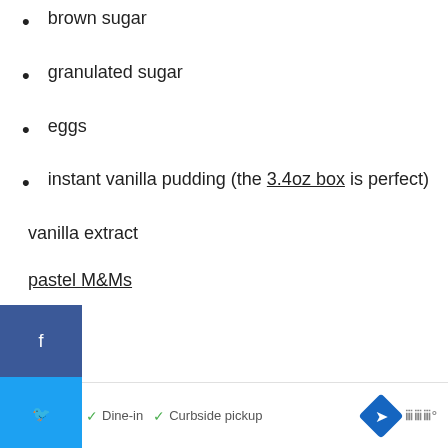brown sugar
granulated sugar
eggs
instant vanilla pudding (the 3.4oz box is perfect)
vanilla extract
pastel M&Ms
flour
[Figure (screenshot): Social media sharing sidebar with Facebook, Twitter, Pinterest, and email buttons]
[Figure (screenshot): Floating action buttons: heart/save (71 saves) and share button]
[Figure (screenshot): Advertisement bar at bottom with restaurant logo, Dine-in and Curbside pickup options]